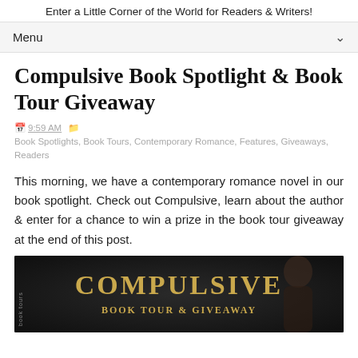Enter a Little Corner of the World for Readers & Writers!
Menu
Compulsive Book Spotlight & Book Tour Giveaway
9:59 AM  Book Spotlights, Book Tours, Contemporary Romance, Features, Giveaways, Readers
This morning, we have a contemporary romance novel in our book spotlight. Check out Compulsive, learn about the author & enter for a chance to win a prize in the book tour giveaway at the end of this post.
[Figure (photo): Book tour banner for 'Compulsive' showing gold text 'COMPULSIVE' and 'BOOK TOUR & GIVEAWAY' on a dark background with a woman's silhouette from behind, with a vertical 'book tours' text on the left side.]